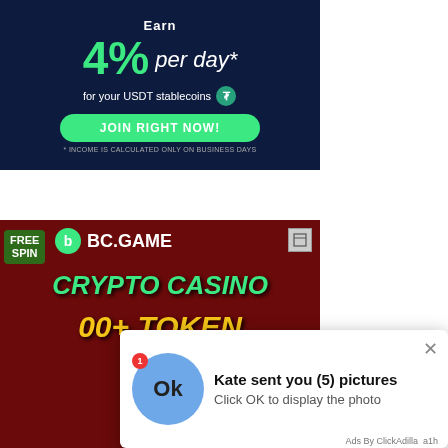[Figure (infographic): Dark blue ad banner: Earn 4% per day for your USDT stablecoins. JOIN RIGHT NOW! button. Income calculated only on business days disclaimer.]
[Figure (infographic): BC.GAME crypto casino ad: FREE SPIN, BC.GAME logo, CRYPTO CASINO, 00+ TOKEN text on dark red background with coins.]
[Figure (infographic): Popup notification overlay: blue circle avatar with Ok text and red badge '1', Kate sent you (5) pictures, Click OK to display the photo, X close button, Ads By ClickAdilla a1h.]